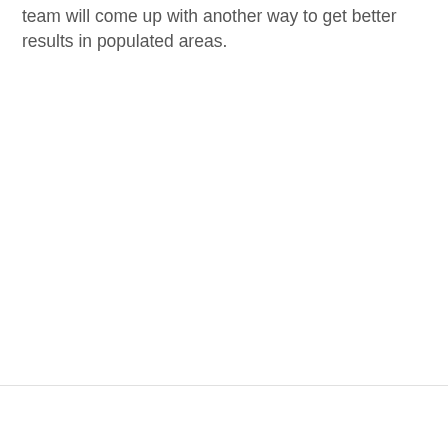team will come up with another way to get better results in populated areas.